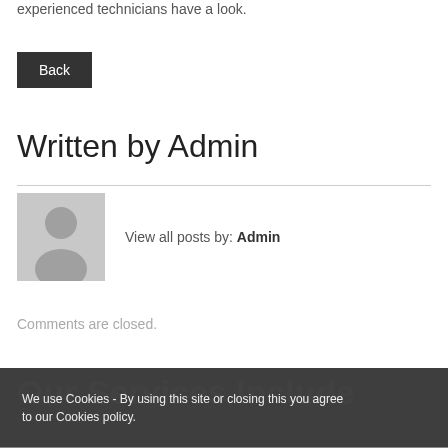experienced technicians have a look.
Back
Written by Admin
[Figure (illustration): Default user avatar — gray silhouette of a person on gray background]
View all posts by: Admin
Comments are closed.
Our Services Include
We use Cookies - By using this site or closing this you agree to our Cookies policy.